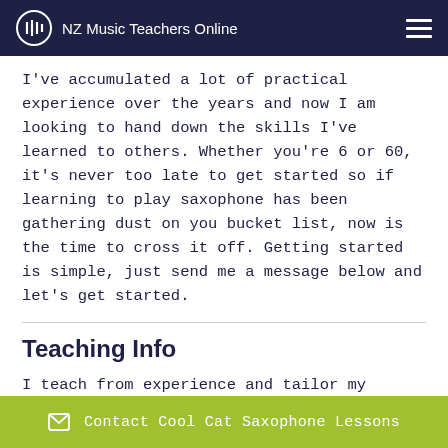NZ Music Teachers Online
I've accumulated a lot of practical experience over the years and now I am looking to hand down the skills I've learned to others. Whether you're 6 or 60, it's never too late to get started so if learning to play saxophone has been gathering dust on you bucket list, now is the time to cross it off. Getting started is simple, just send me a message below and let's get started.
Teaching Info
I teach from experience and tailor my lessons to the individual student. I believe everyone has a unique
Contact Cool Cat Saxophone Lessons